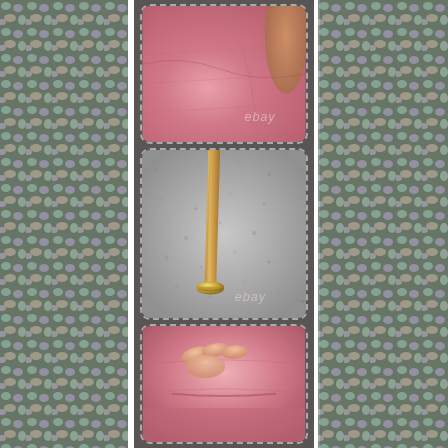[Figure (photo): Product detail photos of a pink upholstered chair with wooden legs shown in three close-up shots: top shows pink fabric upholstery and wooden frame, middle shows a wooden chair leg with gold metal foot cap on grey carpet with ebay watermark, bottom shows pink velvet seat cushion detail.]
[Figure (photo): Left side decorative panel with colorful mosaic/gemstone pattern background.]
[Figure (photo): Right side decorative panel with colorful mosaic/gemstone pattern background.]